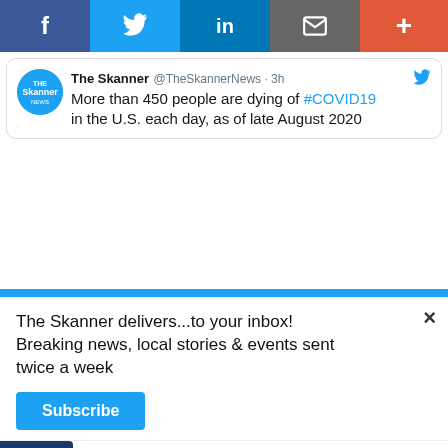[Figure (screenshot): Social media share bar with Facebook, Twitter, LinkedIn, Email, and Plus icons]
[Figure (screenshot): Tweet from @TheSkannerNews: 'More than 450 people are dying of #COVID19 in the U.S. each day...' posted 3h ago]
The Skanner delivers...to your inbox! Breaking news, local stories & events sent twice a week
Subscribe
[Figure (screenshot): Wayfair advertisement: Top Appliances Low Prices - Save on best selling brands that live up to the hype. Shop now.]
[Figure (screenshot): Solar panel advertisement: INDEPENDENT POWUR CONSULTANT - PANELES SOLARES + BATERIA SE BUSCAN VENDEDORES 310-467-5410 $1,000 CASH]